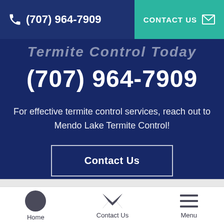(707) 964-7909 | CONTACT US
Termite Control Today
(707) 964-7909
For effective termite control services, reach out to Mendo Lake Termite Control!
Contact Us
Home | Contact Us | Menu